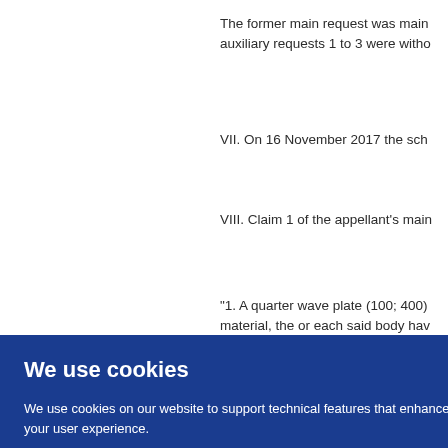The former main request was main... auxiliary requests 1 to 3 were witho...
VII. On 16 November 2017 the sch...
VIII. Claim 1 of the appellant's main...
"1. A quarter wave plate (100; 400) material, the or each said body hav... prising ising t end mpris cond ove ( 12, 4
We use cookies
We use cookies on our website to support technical features that enhance your user experience. We also use analytics. Access full information on cookies that we use and how to manage them